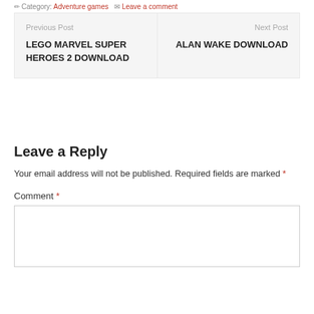Category: Adventure games  Leave a comment
Previous Post
LEGO MARVEL SUPER HEROES 2 DOWNLOAD
Next Post
ALAN WAKE DOWNLOAD
Leave a Reply
Your email address will not be published. Required fields are marked *
Comment *